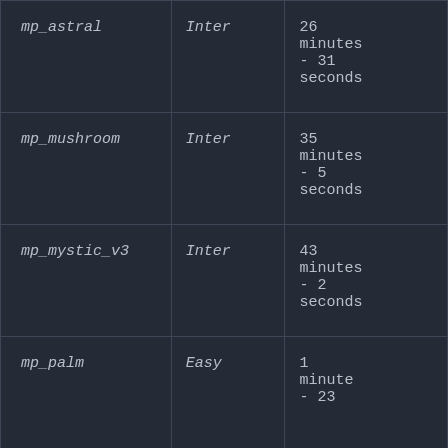| mp_astral | Inter | 26 minutes - 31 seconds |
| mp_mushroom | Inter | 35 minutes - 5 seconds |
| mp_mystic_v3 | Inter | 43 minutes - 2 seconds |
| mp_palm | Easy | 1 minute - 23 |